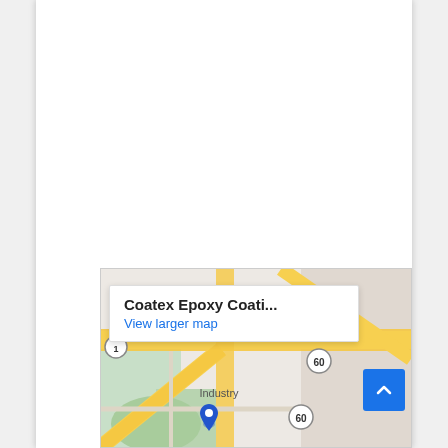[Figure (map): Google Maps embed showing Coatex Epoxy Coatings location with road map, highway routes including routes 57, 60, and Industry area visible. A map popup card reads 'Coatex Epoxy Coati...' with a 'View larger map' link in blue.]